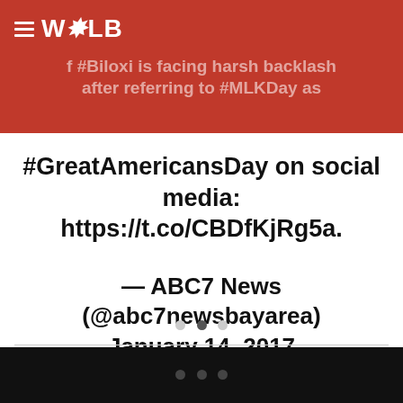WOLB — f #Biloxi is facing harsh backlash after referring to #MLKDay as
#GreatAmericansDay on social media: https://t.co/CBDfKjRg5a.
— ABC7 News (@abc7newsbayarea) January 14, 2017